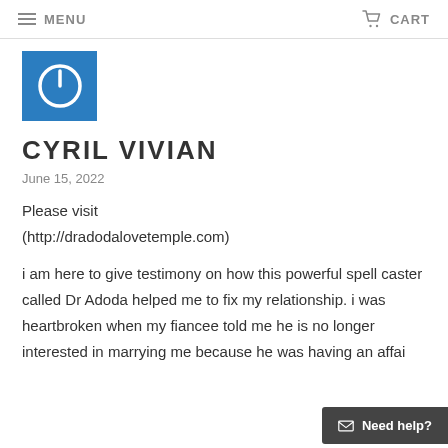MENU  CART
[Figure (logo): Blue square with white power button icon]
CYRIL VIVIAN
June 15, 2022
Please visit (http://dradodalovetemple.com)
i am here to give testimony on how this powerful spell caster called Dr Adoda helped me to fix my relationship. i was heartbroken when my fiancee told me he is no longer interested in marrying me because he was having an affair